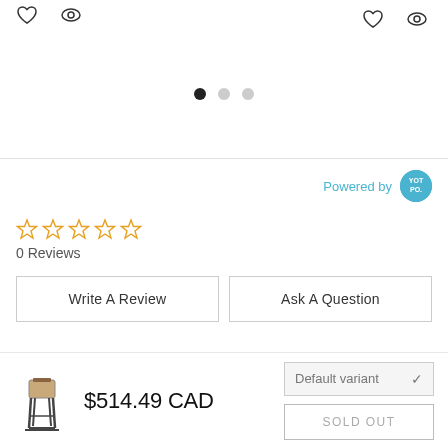[Figure (screenshot): UI icons: heart and eye outlines at top-left, heart and eye outlines at top-right]
[Figure (other): Carousel dot indicators: one filled black dot and two grey dots]
Powered by YOTPO
[Figure (other): Five empty star rating icons]
0 Reviews
Write A Review
Ask A Question
[Figure (photo): Small product thumbnail image of a bar stool chair]
$514.49 CAD
Default variant
SOLD OUT